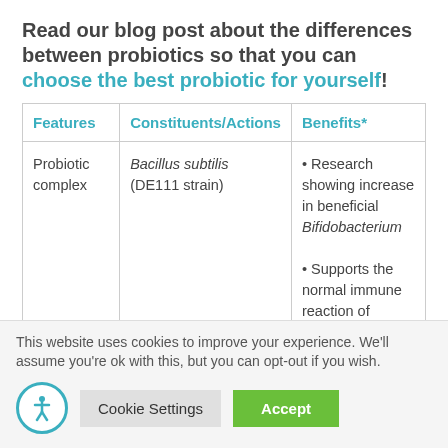Read our blog post about the differences between probiotics so that you can choose the best probiotic for yourself!
| Features | Constituents/Actions | Benefits* |
| --- | --- | --- |
| Probiotic complex | Bacillus subtilis (DE111 strain) | • Research showing increase in beneficial Bifidobacterium
• Supports the normal immune reaction of |
This website uses cookies to improve your experience. We'll assume you're ok with this, but you can opt-out if you wish.